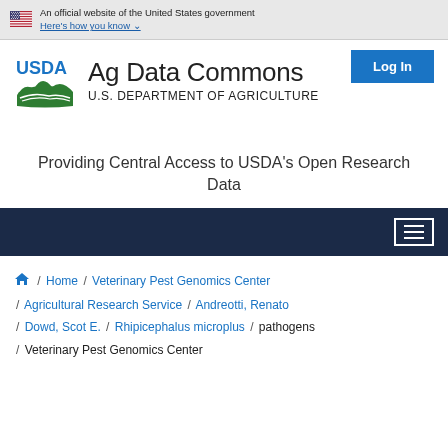An official website of the United States government Here's how you know
[Figure (logo): USDA Ag Data Commons logo with U.S. Department of Agriculture text]
Providing Central Access to USDA's Open Research Data
Home / Veterinary Pest Genomics Center / Agricultural Research Service / Andreotti, Renato / Dowd, Scot E. / Rhipicephalus microplus / pathogens / Veterinary Pest Genomics Center